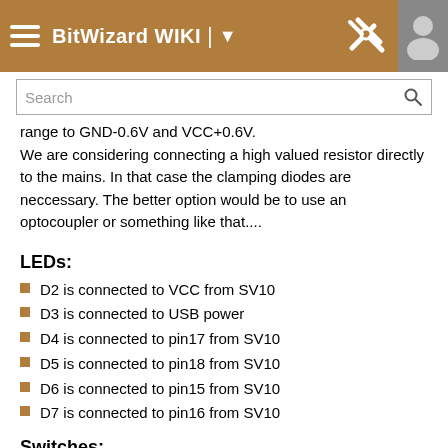BitWizard WIKI
range to GND-0.6V and VCC+0.6V.
We are considering connecting a high valued resistor directly to the mains. In that case the clamping diodes are neccessary. The better option would be to use an optocoupler or something like that....
LEDs:
D2 is connected to VCC from SV10
D3 is connected to USB power
D4 is connected to pin17 from SV10
D5 is connected to pin18 from SV10
D6 is connected to pin15 from SV10
D7 is connected to pin16 from SV10
Switches:
Switch1 (next to R71) is connected to pin16 from SV10
Switch2 (next to R72) is connected to pin15 from SV10
Switch3 (next to R73) is connected to pin18 from SV10